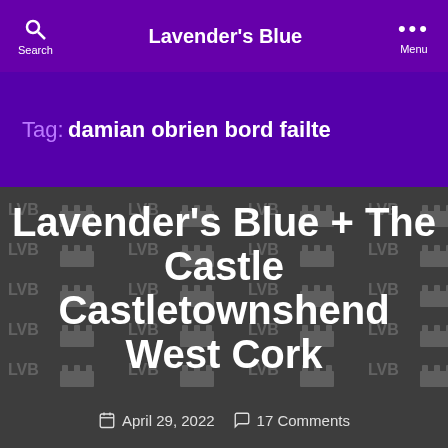Lavender's Blue
Tag: damian obrien bord failte
[Figure (screenshot): Dark grey background with repeating watermark pattern of 'LVB' text and castle/building icon logo]
Lavender's Blue + The Castle Castletownshend West Cork
April 29, 2022  17 Comments